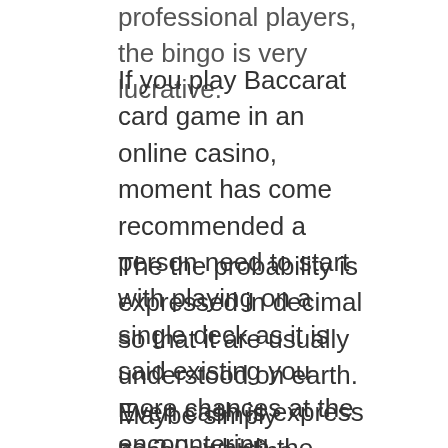professional players, the bingo is very lucrative.
If you play Baccarat card game in an online casino, moment has come recommended a person need to start with playing on a single deck as it is said existing you more chances at the encountering obtaining kind of bets for that game.
The the probability is expressed in decimal so that it are usually understood on earth. Even cash is express as 2.0, which the simple format to indicate your initial stake as well as winning. In fact, may refine use a simple odds converter to put it back to portion of format.
Maybe simply because online players can skip all the fuss and simply to the videos . of online game can sink into. The game is very for you to play